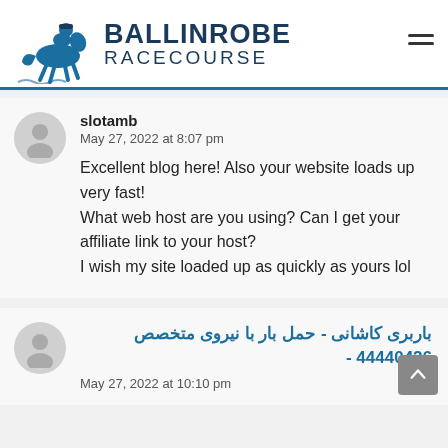BALLINROBE RACECOURSE
slotamb
May 27, 2022 at 8:07 pm

Excellent blog here! Also your website loads up very fast!
What web host are you using? Can I get your affiliate link to your host?
I wish my site loaded up as quickly as yours lol
باربری کاشانی - حمل بار با نیروی متخصص 44440426 -
May 27, 2022 at 10:10 pm